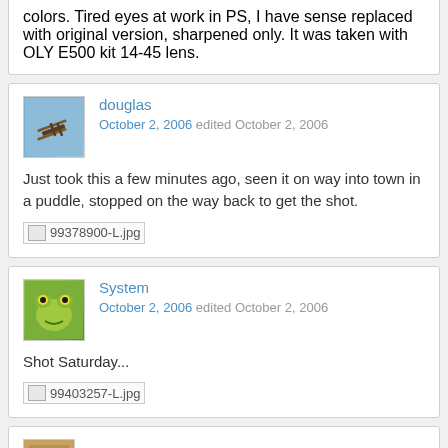colors. Tired eyes at work in PS, I have sense replaced with original version, sharpened only. It was taken with OLY E500 kit 14-45 lens.
douglas
October 2, 2006 edited October 2, 2006

Just took this a few minutes ago, seen it on way into town in a puddle, stopped on the way back to get the shot.

[image: 99378900-L.jpg]
System
October 2, 2006 edited October 2, 2006

Shot Saturday...

[image: 99403257-L.jpg]